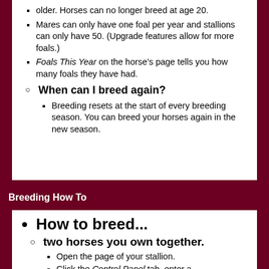older. Horses can no longer breed at age 20.
Mares can only have one foal per year and stallions can only have 50. (Upgrade features allow for more foals.)
Foals This Year on the horse's page tells you how many foals they have had.
When can I breed again?
Breeding resets at the start of every breeding season. You can breed your horses again in the new season.
Breeding How To
How to breed...
two horses you own together.
Open the page of your stallion.
Click the Control Panel tab, enter a